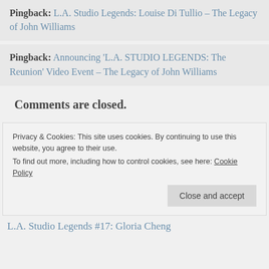Pingback: L.A. Studio Legends: Louise Di Tullio – The Legacy of John Williams
Pingback: Announcing 'L.A. STUDIO LEGENDS: The Reunion' Video Event – The Legacy of John Williams
Comments are closed.
Privacy & Cookies: This site uses cookies. By continuing to use this website, you agree to their use.
To find out more, including how to control cookies, see here: Cookie Policy
Close and accept
L.A. Studio Legends #17: Gloria Cheng